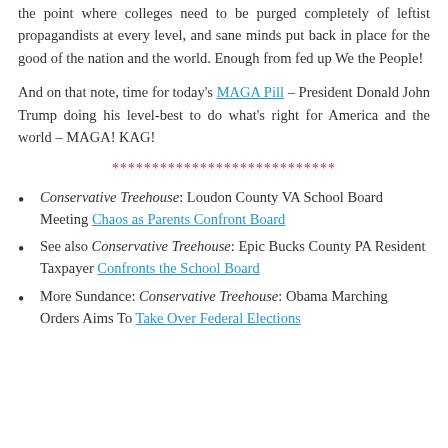the point where colleges need to be purged completely of leftist propagandists at every level, and sane minds put back in place for the good of the nation and the world. Enough from fed up We the People!
And on that note, time for today's MAGA Pill – President Donald John Trump doing his level-best to do what's right for America and the world – MAGA! KAG!
****************************
Conservative Treehouse: Loudon County VA School Board Meeting Chaos as Parents Confront Board
See also Conservative Treehouse: Epic Bucks County PA Resident Taxpayer Confronts the School Board
More Sundance: Conservative Treehouse: Obama Marching Orders Aims To Take Over Federal Elections